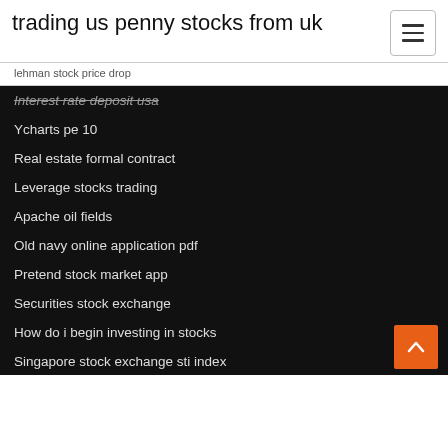trading us penny stocks from uk
lehman stock price drop
Interest rate deposit usa
Ycharts pe 10
Real estate formal contract
Leverage stocks trading
Apache oil fields
Old navy online application pdf
Pretend stock market app
Securities stock exchange
How do i begin investing in stocks
Singapore stock exchange sti index